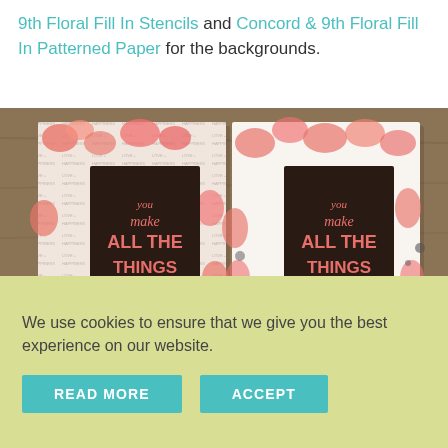9th Floral Fill In Stencils and Concord & 9th Floral Fill In Patterned Paper for the backgrounds.
[Figure (photo): Two handmade greeting cards side by side on a wooden surface with a pink envelope. Both cards feature dark backgrounds with the text 'you make ALL THE THINGS better' in pink lettering, surrounded by coral floral patterned borders — one with a text-print pattern and one with a watercolor floral print.]
We use cookies to ensure that we give you the best experience on our website.